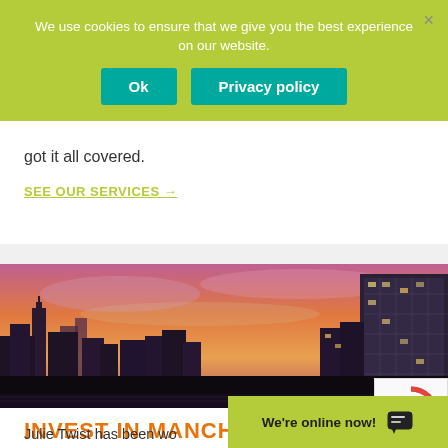We use cookies to ensure that we give you the best experience on our website.
Ok  Privacy policy
got it all covered.
SEE OUR SERVICES →
[Figure (photo): Manchester city skyline at sunset with purple and orange sky, showing silhouettes of buildings and skyscrapers]
INVEST IN MANCHESTER
Julie Twist has been wo
We're online now!